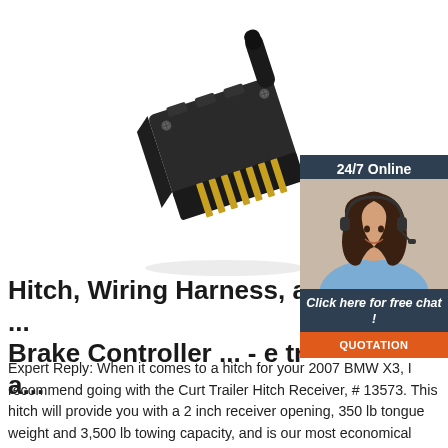[Figure (photo): Black trailer wiring connector/plug with gold pins, viewed at an angle on white background]
[Figure (photo): 24/7 Online chat widget showing a smiling woman with headset, with 'Click here for free chat!' text and orange QUOTATION button]
Hitch, Wiring Harness, a... Brake Controller ... - e tra...
Expert Reply: When it comes to a hitch for your 2007 BMW X3, I recommend going with the Curt Trailer Hitch Receiver, # 13573. This hitch will provide you with a 2 inch receiver opening, 350 lb tongue weight and 3,500 lb towing capacity, and is our most economical hitch option for your X3. I have attached a video of this hitch being ...